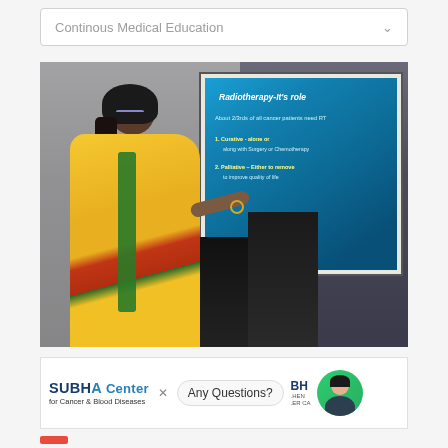Continous Medical Education
[Figure (photo): A woman in a yellow saree presenting at a medical education event, standing in front of a large projection screen showing a slide titled 'Radiotherapy-It's role' with bullet points about cancer patients needing radiotherapy.]
[Figure (screenshot): Advertisement banner for SUBHA Center for Cancer & Blood Diseases with a chat bubble asking 'Any Questions?' and a customer service avatar icon.]